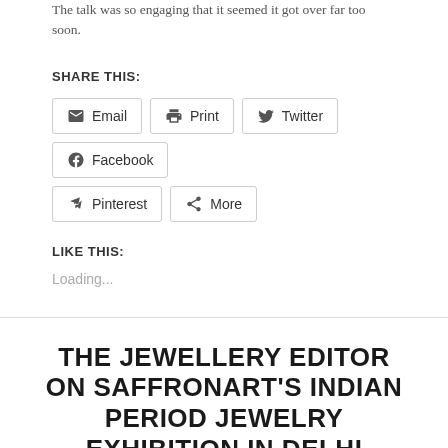The talk was so engaging that it seemed it got over far too soon.
SHARE THIS:
Email  Print  Twitter  Facebook  Pinterest  More
LIKE THIS:
Loading...
THE JEWELLERY EDITOR ON SAFFRONART'S INDIAN PERIOD JEWELRY EXHIBITION IN DELHI